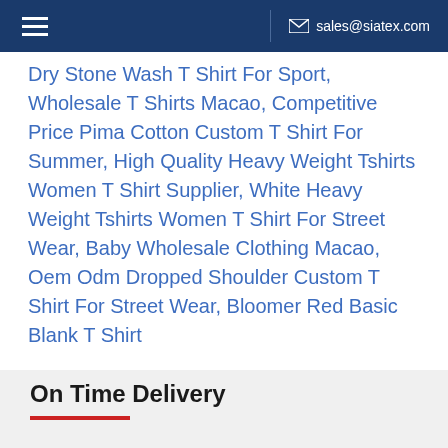sales@siatex.com
Dry Stone Wash T Shirt For Sport, Wholesale T Shirts Macao, Competitive Price Pima Cotton Custom T Shirt For Summer, High Quality Heavy Weight Tshirts Women T Shirt Supplier, White Heavy Weight Tshirts Women T Shirt For Street Wear, Baby Wholesale Clothing Macao, Oem Odm Dropped Shoulder Custom T Shirt For Street Wear, Bloomer Red Basic Blank T Shirt
On Time Delivery